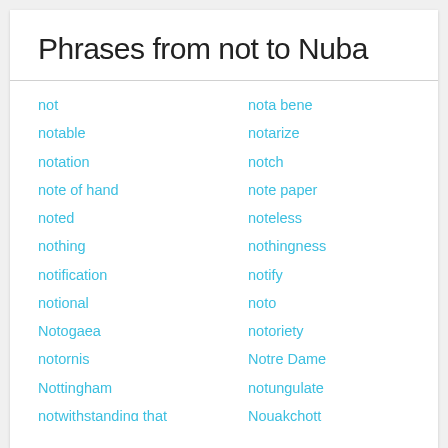Phrases from not to Nuba
not
notable
notation
note of hand
noted
nothing
notification
notional
Notogaea
notornis
Nottingham
notwithstanding that
nought
noumenon
nourishment
nota bene
notarize
notch
note paper
noteless
nothingness
notify
noto
notoriety
Notre Dame
notungulate
Nouakchott
Noumea
noun
nous